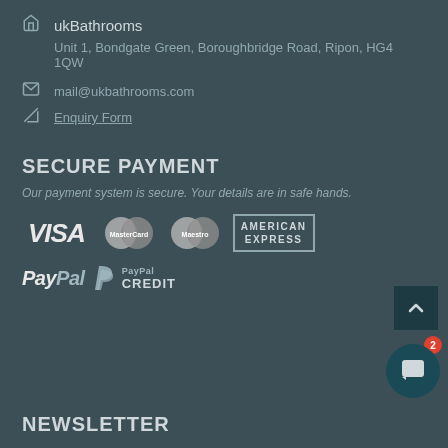ukBathrooms
Unit 1, Bondgate Green, Boroughbridge Road, Ripon, HG4 1QW
mail@ukbathrooms.com
Enquiry Form
SECURE PAYMENT
Our payment system is secure. Your details are in safe hands.
[Figure (logo): Payment method logos: VISA, MasterCard, Maestro, American Express, PayPal, PayPal Credit]
NEWSLETTER